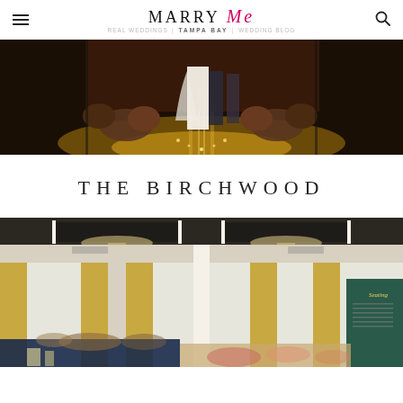MARRY Me | TAMPA BAY | Wedding Blog
[Figure (photo): Wedding ceremony photo from behind, showing bride in white gown with long veil standing at altar with groom, guests seated on sides, warm golden light on the floor]
THE BIRCHWOOD
[Figure (photo): Elegant wedding reception venue interior at The Birchwood, showing chandelier-lit ballroom with tall windows, gold curtains, decorated tables, and a floral seating chart display board]